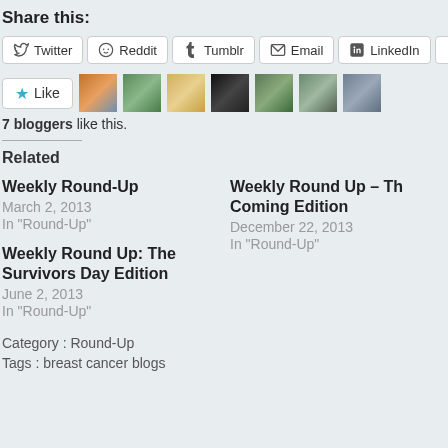Share this:
Twitter | Reddit | Tumblr | Email | LinkedIn | Facebook
Like | [7 blogger avatars]
7 bloggers like this.
Related
Weekly Round-Up
March 2, 2013
In "Round-Up"
Weekly Round Up – Th Coming Edition
December 22, 2013
In "Round-Up"
Weekly Round Up: The Survivors Day Edition
June 2, 2013
In "Round-Up"
Category : Round-Up
Tags : breast cancer blogs